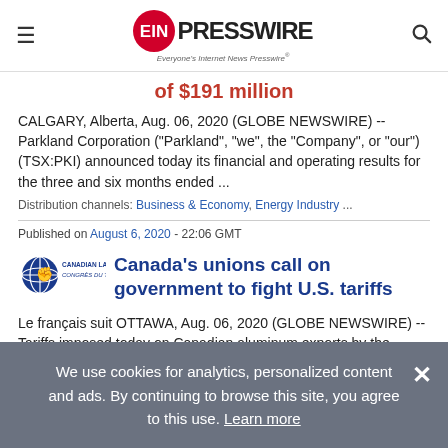EIN PRESSWIRE — Everyone's Internet News Presswire
of $191 million
CALGARY, Alberta, Aug. 06, 2020 (GLOBE NEWSWIRE) -- Parkland Corporation ("Parkland", "we", the "Company", or "our") (TSX:PKI) announced today its financial and operating results for the three and six months ended ...
Distribution channels: Business & Economy, Energy Industry ...
Published on August 6, 2020 - 22:06 GMT
[Figure (logo): Canadian Labour Congress / Congrès du travail du Canada logo with globe and raised fist]
Canada's unions call on government to fight U.S. tariffs
Le français suit OTTAWA, Aug. 06, 2020 (GLOBE NEWSWIRE) -- Tariffs imposed today on Canadian aluminum exports by the United States put thousands of
We use cookies for analytics, personalized content and ads. By continuing to browse this site, you agree to this use. Learn more